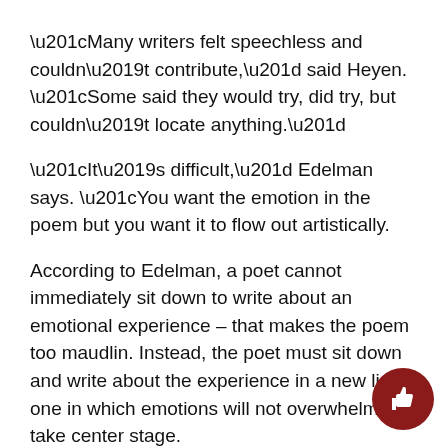“Many writers felt speechless and couldn’t contribute,” said Heyen. “Some said they would try, did try, but couldn’t locate anything.”
“It’s difficult,” Edelman says. “You want the emotion in the poem but you want it to flow out artistically.
According to Edelman, a poet cannot immediately sit down to write about an emotional experience – that makes the poem too maudlin. Instead, the poet must sit down and write about the experience in a new light, one in which emotions will not overwhelmingly take center stage.
For some poets this process can take weeks, months, or even years to complete. However, in Edelman’s case, he just had a matter of days to come up with something. Though Heyen’s strategy in compiling material for the anthology is contradictory to the way poetry is written